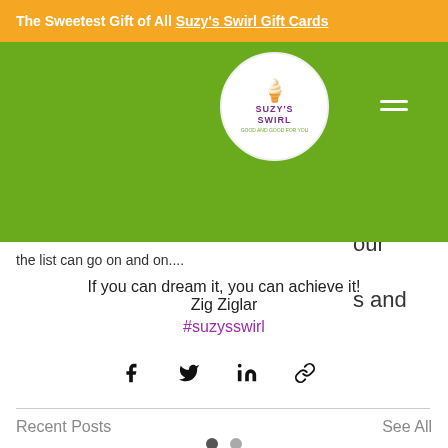The Sweetest Gift of All Suzy's Swirl Gift Cards
[Figure (logo): Suzy's Swirl logo: circular white badge with green background navbar, purple text 'SUZY'S SWIRL', tagline 'Good and Good For You', hamburger menu icon in white]
the list can go on and on....
If you can dream it, you can achieve it!
Zig Ziglar
#suzysswirl
[Figure (infographic): Social share icons: Facebook, Twitter, LinkedIn, link/chain icon]
Recent Posts
See All
[Figure (photo): Thumbnail images for recent blog posts including a school-themed illustration]